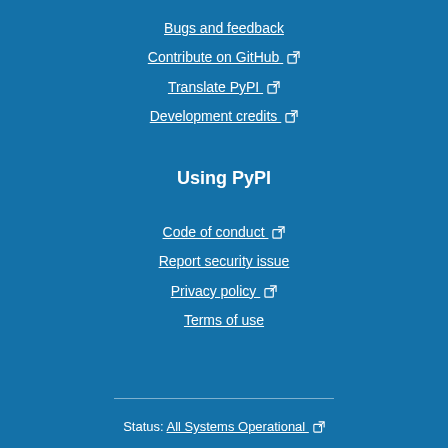Bugs and feedback
Contribute on GitHub
Translate PyPI
Development credits
Using PyPI
Code of conduct
Report security issue
Privacy policy
Terms of use
Status: All Systems Operational